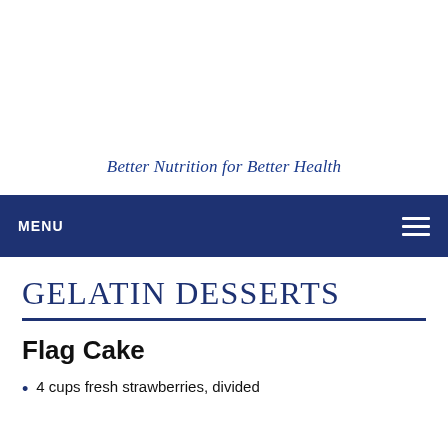Better Nutrition for Better Health
MENU
GELATIN DESSERTS
Flag Cake
4 cups fresh strawberries, divided